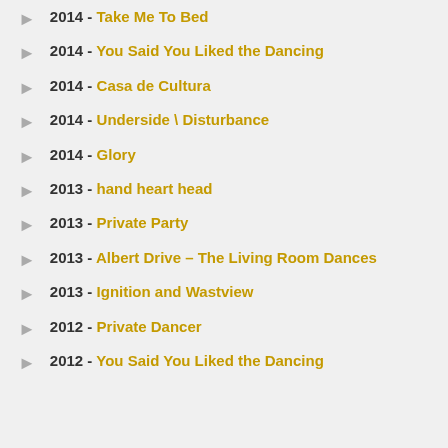2014 - Take Me To Bed
2014 - You Said You Liked the Dancing
2014 - Casa de Cultura
2014 - Underside \ Disturbance
2014 - Glory
2013 - hand heart head
2013 - Private Party
2013 - Albert Drive – The Living Room Dances
2013 - Ignition and Wastview
2012 - Private Dancer
2012 - You Said You Liked the Dancing